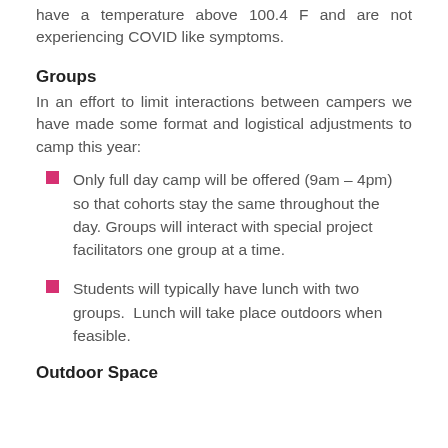have a temperature above 100.4 F and are not experiencing COVID like symptoms.
Groups
In an effort to limit interactions between campers we have made some format and logistical adjustments to camp this year:
Only full day camp will be offered (9am – 4pm) so that cohorts stay the same throughout the day. Groups will interact with special project facilitators one group at a time.
Students will typically have lunch with two groups.  Lunch will take place outdoors when feasible.
Outdoor Space